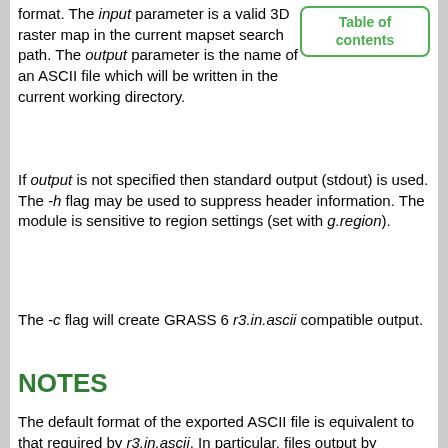format. The input parameter is a valid 3D raster map in the current mapset search path. The output parameter is the name of an ASCII file which will be written in the current working directory.
If output is not specified then standard output (stdout) is used. The -h flag may be used to suppress header information. The module is sensitive to region settings (set with g.region).
The -c flag will create GRASS 6 r3.in.ascii compatible output.
NOTES
The default format of the exported ASCII file is equivalent to that required by r3.in.ascii. In particular, files output by r3.out.ascii with header information may be converted back to 3D raster maps with r3.in.ascii.
The format of the ASCII file is: